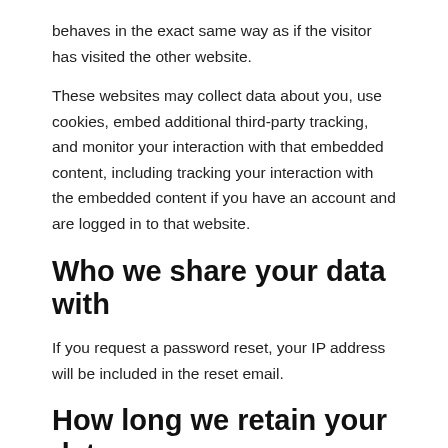behaves in the exact same way as if the visitor has visited the other website.
These websites may collect data about you, use cookies, embed additional third-party tracking, and monitor your interaction with that embedded content, including tracking your interaction with the embedded content if you have an account and are logged in to that website.
Who we share your data with
If you request a password reset, your IP address will be included in the reset email.
How long we retain your data
If you leave a comment, the comment and its metadata are retained in...